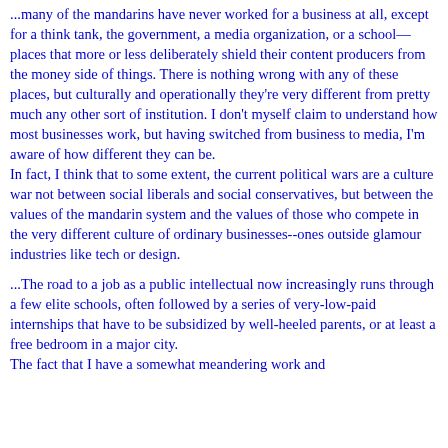...many of the mandarins have never worked for a business at all, except for a think tank, the government, a media organization, or a school—places that more or less deliberately shield their content producers from the money side of things. There is nothing wrong with any of these places, but culturally and operationally they're very different from pretty much any other sort of institution. I don't myself claim to understand how most businesses work, but having switched from business to media, I'm aware of how different they can be. In fact, I think that to some extent, the current political wars are a culture war not between social liberals and social conservatives, but between the values of the mandarin system and the values of those who compete in the very different culture of ordinary businesses--ones outside glamour industries like tech or design.
...The road to a job as a public intellectual now increasingly runs through a few elite schools, often followed by a series of very-low-paid internships that have to be subsidized by well-heeled parents, or at least a free bedroom in a major city. The fact that I have a somewhat meandering work and